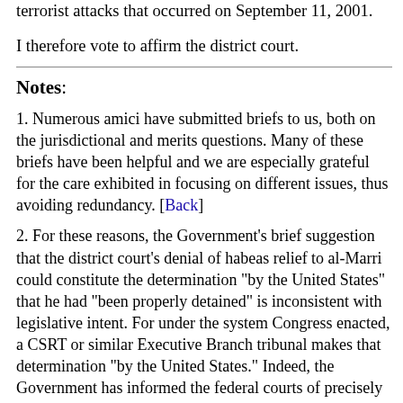terrorist attacks that occurred on September 11, 2001.
I therefore vote to affirm the district court.
Notes:
1. Numerous amici have submitted briefs to us, both on the jurisdictional and merits questions. Many of these briefs have been helpful and we are especially grateful for the care exhibited in focusing on different issues, thus avoiding redundancy. [Back]
2. For these reasons, the Government's brief suggestion that the district court's denial of habeas relief to al-Marri could constitute the determination "by the United States" that he had "been properly detained" is inconsistent with legislative intent. For under the system Congress enacted, a CSRT or similar Executive Branch tribunal makes that determination "by the United States." Indeed, the Government has informed the federal courts of precisely this point in other litigation involving the MCA. See Government's